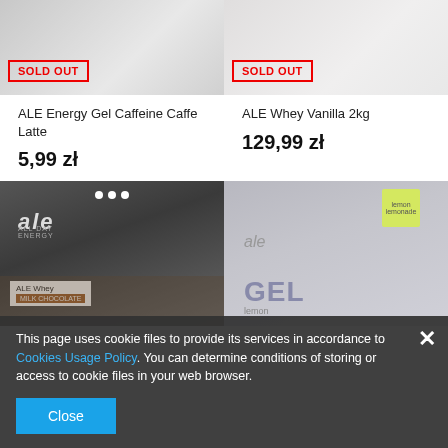[Figure (photo): Top product image left: ALE Energy Gel Caffeine Caffe Latte product with SOLD OUT badge]
[Figure (photo): Top product image right: ALE Whey Vanilla 2kg product with SOLD OUT badge]
ALE Energy Gel Caffeine Caffe Latte
ALE Whey Vanilla 2kg
5,99 zł
129,99 zł
[Figure (photo): Bottom product image left: ALE Whey Milk Chocolate dark packaging]
[Figure (photo): Bottom product image right: ALE Energy Gel lemon flavor]
This page uses cookie files to provide its services in accordance to Cookies Usage Policy. You can determine conditions of storing or access to cookie files in your web browser.
Close